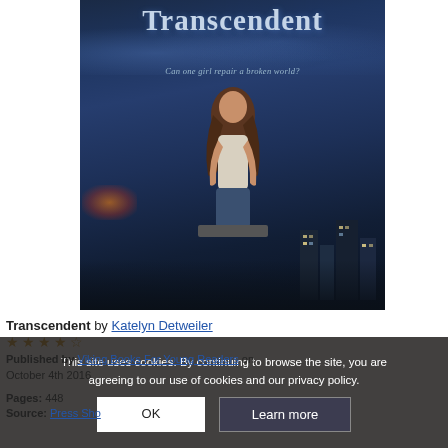[Figure (illustration): Book cover of 'Transcendent' by Katelyn Detweiler. Shows a girl sitting on a ledge/rooftop with her back to viewer, looking at a dark blue stormy cityscape. Title 'Transcendent' at top in large serif letters. Subtitle 'Can one girl repair a broken world?' in smaller italic text.]
Transcendent by Katelyn Detweiler
[Figure (other): Star rating showing approximately 3.5 out of 5 stars in orange/gold color]
Published by Viking Books For Young Readers on October 4th 2016
Pages: 448
Source: Press Shop
This site uses cookies. By continuing to browse the site, you are agreeing to our use of cookies and our privacy policy.